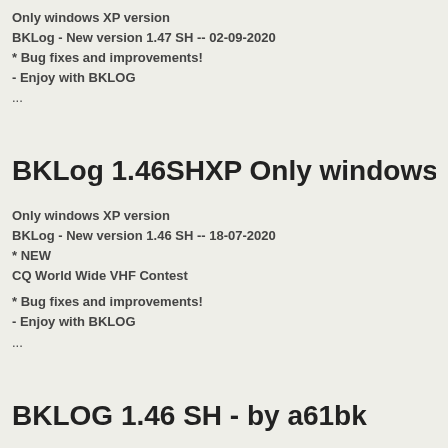Only windows XP version
BKLog - New version 1.47 SH -- 02-09-2020
* Bug fixes and improvements!
- Enjoy with BKLOG
...
BKLog 1.46SHXP Only windows XP - by a61b
Only windows XP version
BKLog - New version 1.46 SH -- 18-07-2020
* NEW
CQ World Wide VHF Contest
* Bug fixes and improvements!
- Enjoy with BKLOG
...
BKLOG 1.46 SH - by a61bk
BKLog - New version 1.46 SH -- 18-07-2020 * NEW CQ World Wide VHF C